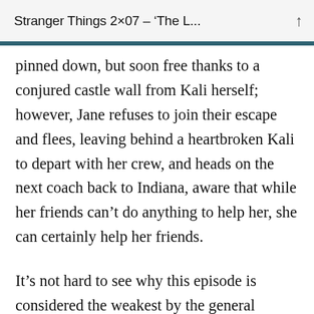Stranger Things 2×07 – 'The L...
pinned down, but soon free thanks to a conjured castle wall from Kali herself; however, Jane refuses to join their escape and flees, leaving behind a heartbroken Kali to depart with her crew, and heads on the next coach back to Indiana, aware that while her friends can't do anything to help her, she can certainly help her friends.
It's not hard to see why this episode is considered the weakest by the general viewing populace – it's clunky in places, with a hearty smattering of cheesy dialogue that could have come out of an 'X-Men'